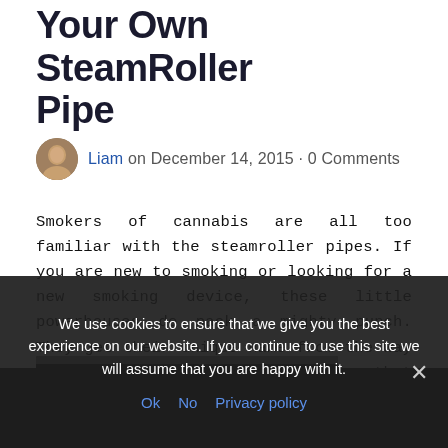Your Own SteamRoller Pipe
Liam on December 14, 2015 · 0 Comments
Smokers of cannabis are all too familiar with the steamroller pipes. If you are new to smoking or looking for a new smoking device, these little powerhouses do pack a mighty punch. They get their unique name from the way that the design closely resembles that of a steam locomotive train. The reason it is … READ MORE »
[Figure (photo): Partial image visible at bottom of page, mostly dark/obscured by cookie banner]
We use cookies to ensure that we give you the best experience on our website. If you continue to use this site we will assume that you are happy with it. Ok No Privacy policy